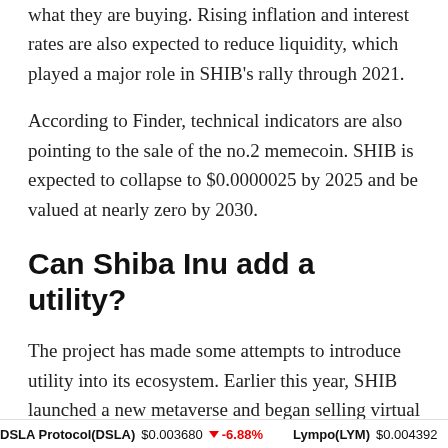what they are buying. Rising inflation and interest rates are also expected to reduce liquidity, which played a major role in SHIB's rally through 2021.
According to Finder, technical indicators are also pointing to the sale of the no.2 memecoin. SHIB is expected to collapse to $0.0000025 by 2025 and be valued at nearly zero by 2030.
Can Shiba Inu add a utility?
The project has made some attempts to introduce utility into its ecosystem. Earlier this year, SHIB launched a new metaverse and began selling virtual
DSLA Protocol(DSLA)  $0.003680  ↓ -6.88%     Lympo(LYM)  $0.004392